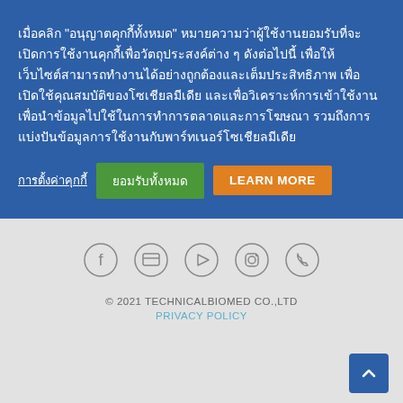เมื่อคลิก "อนุญาตคุกกี้ทั้งหมด" หมายความว่าผู้ใช้งานยอมรับที่จะเปิดการใช้งานคุกกี้เพื่อวัตถุประสงค์ต่าง ๆ ดังต่อไปนี้ เพื่อให้เว็บไซต์สามารถทำงานได้อย่างถูกต้องและเต็มประสิทธิภาพ เพื่อเปิดใช้คุณสมบัติของโซเชียลมีเดีย และเพื่อวิเคราะห์การเข้าใช้งาน เพื่อนำข้อมูลไปใช้ในการทำการตลาดและการโฆษณา รวมถึงการแบ่งปันข้อมูลการใช้งานกับพาร์ทเนอร์โซเชียลมีเดีย
การตั้งค่าคุกกี้
ยอมรับทั้งหมด
LEARN MORE
[Figure (other): Social media icons row: Facebook, messaging, YouTube, Instagram, phone]
© 2021 TECHNICALBIOMED CO.,LTD
PRIVACY POLICY